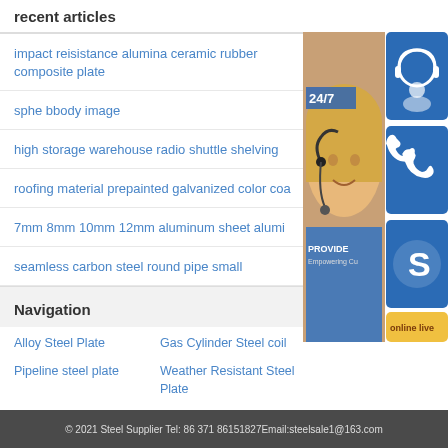recent articles
impact reisistance alumina ceramic rubber composite plate
sphe bbody image
high storage warehouse radio shuttle shelving
roofing material prepainted galvanized color coa
7mm 8mm 10mm 12mm aluminum sheet alumi
seamless carbon steel round pipe small
[Figure (illustration): Customer service representative with headset, 24/7 support chat panel with headset icon, phone icon, Skype icon, and online live button. Text: 24/7, PROVIDE Empowering Cu, online live]
Navigation
Alloy Steel Plate
Gas Cylinder Steel coil
Pipeline steel plate
Weather Resistant Steel Plate
© 2021 Steel Supplier Tel: 86 371 86151827Email:steelsale1@163.com